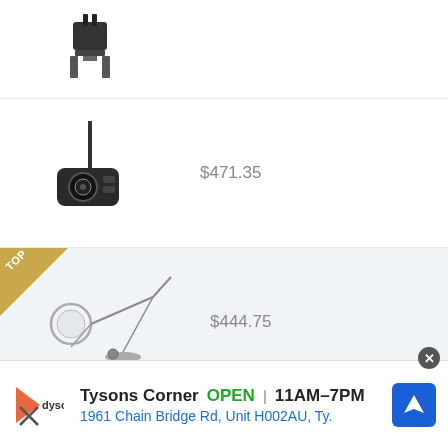[Figure (photo): Partial product image at top of page, electronic component/connector]
$471.35
[Figure (photo): Golf putter or similar black sporting device product image]
[Figure (photo): TOP badge highlighted product - magnifying lamp or adjustable arm tool]
$444.75
[Figure (photo): Adjustable arm tool or lamp with base, third product]
N/A
Tysons Corner  OPEN | 11AM–7PM
1961 Chain Bridge Rd, Unit H002AU, Ty.